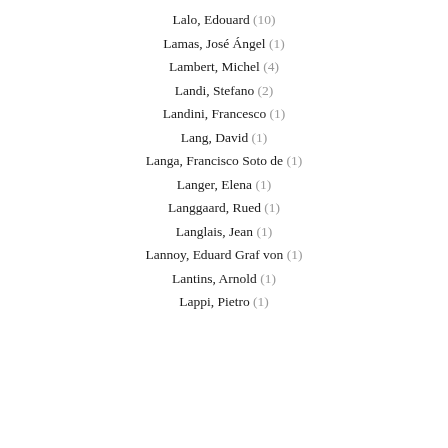Lalo, Edouard (10)
Lamas, José Ángel (1)
Lambert, Michel (4)
Landi, Stefano (2)
Landini, Francesco (1)
Lang, David (1)
Langa, Francisco Soto de (1)
Langer, Elena (1)
Langgaard, Rued (1)
Langlais, Jean (1)
Lannoy, Eduard Graf von (1)
Lantins, Arnold (1)
Lappi, Pietro (1)